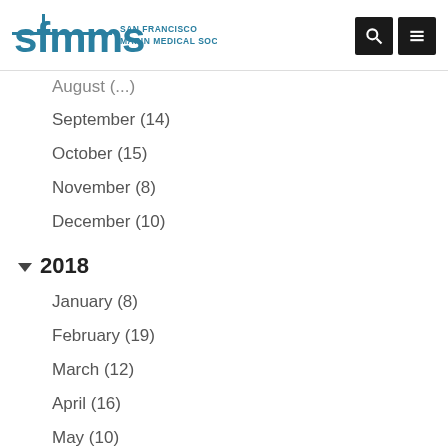SFMMS San Francisco Marin Medical Society
August (...)
September (14)
October (15)
November (8)
December (10)
▼ 2018
January (8)
February (19)
March (12)
April (16)
May (10)
June (14)
July (6)